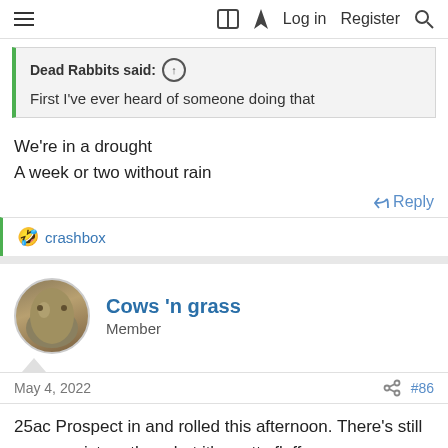≡  [book icon] [lightning icon]  Log in  Register  [search icon]
Dead Rabbits said: ↑
First I've ever heard of someone doing that
We're in a drought
A week or two without rain
↩ Reply
🤣 crashbox
Cows 'n grass
Member
May 4, 2022   #86
25ac Prospect in and rolled this afternoon. There's still some moisture there but it's pretty fluffy.